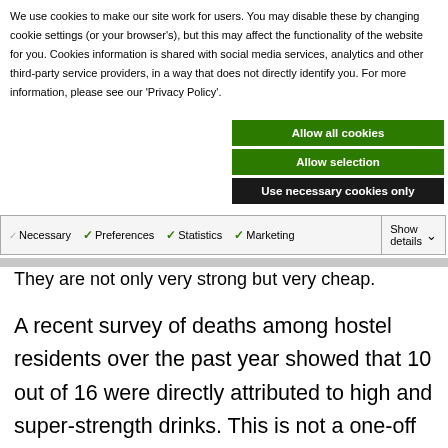We use cookies to make our site work for users. You may disable these by changing cookie settings (or your browser's), but this may affect the functionality of the website for you. Cookies information is shared with social media services, analytics and other third-party service providers, in a way that does not directly identify you. For more information, please see our 'Privacy Policy'.
Allow all cookies
Allow selection
Use necessary cookies only
Necessary  Preferences  Statistics  Marketing  Show details
They are not only very strong but very cheap.
A recent survey of deaths among hostel residents over the past year showed that 10 out of 16 were directly attributed to high and super-strength drinks. This is not a one-off figure. An earlier survey showed 11 out of 14 deaths were caused by